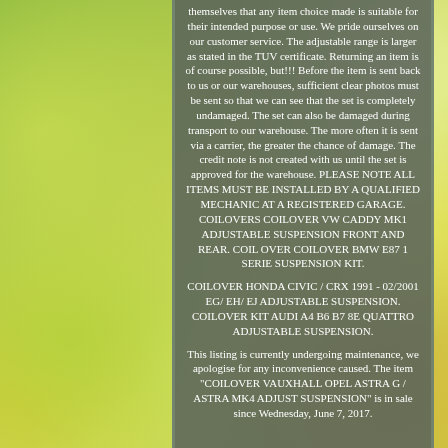themselves that any item choice made is suitable for their intended purpose or use. We pride ourselves on our customer service. The adjustable range is larger as stated in the TUV certificate. Returning an item is of course possible, but!!! Before the item is sent back to us or our warehouses, sufficient clear photos must be sent so that we can see that the set is completely undamaged. The set can also be damaged during transport to our warehouse. The more often it is sent via a carrier, the greater the chance of damage. The credit note is not created with us until the set is approved for the warehouse. PLEASE NOTE ALL ITEMS MUST BE INSTALLED BY A QUALIFIED MECHANIC AT A REGISTERED GARAGE. COILOVERS COILOVER VW CADDY MK1 ADJUSTABLE SUSPENSION FRONT AND REAR. COIL OVER COILOVER BMW E87 1 SERIE SUSPENSION KIT.
COILOVER HONDA CIVIC / CRX 1991 - 02/2001 EG/ EH/ EJ ADJUSTABLE SUSPENSION. COILOVER KIT AUDI A4 B6 B7 8E QUATTRO ADJUSTABLE SUSPENSION.
This listing is currently undergoing maintenance, we apologise for any inconvenience caused. The item "COILOVER VAUXHALL OPEL ASTRA G / ASTRA MK4 ADJUST SUSPENSION" is in sale since Wednesday, June 7, 2017.